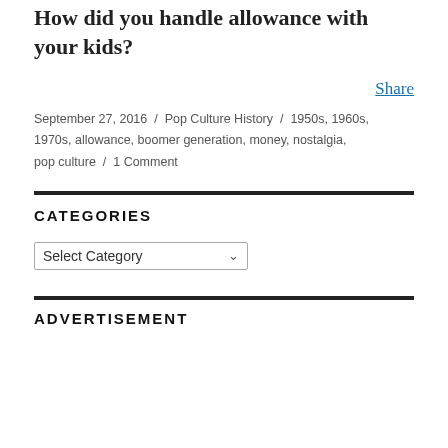How did you handle allowance with your kids?
Share
September 27, 2016 / Pop Culture History / 1950s, 1960s, 1970s, allowance, boomer generation, money, nostalgia, pop culture / 1 Comment
CATEGORIES
Select Category
ADVERTISEMENT